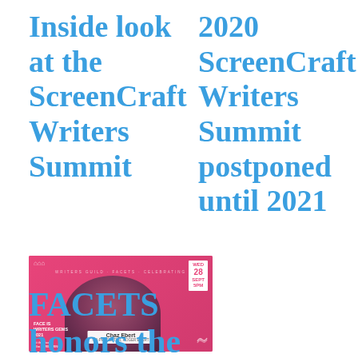Inside look at the ScreenCraft Writers Summit
2020 ScreenCraft Writers Summit postponed until 2021
[Figure (photo): Pink event card featuring Chaz Ebert with date Wed 28 Sept 5PM, for a FACETS/Writers Guild event]
FACETS honors the life and